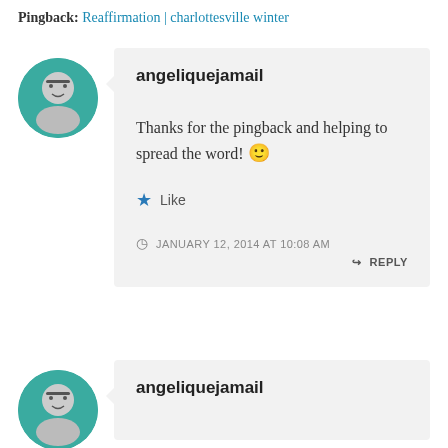Pingback: Reaffirmation | charlottesville winter
angeliquejamail
Thanks for the pingback and helping to spread the word! 🙂
Like
JANUARY 12, 2014 AT 10:08 AM
REPLY
angeliquejamail